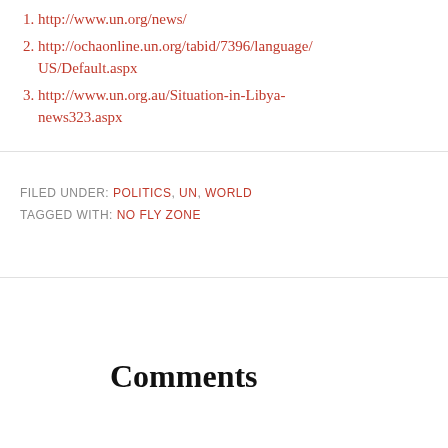http://www.un.org/news/
http://ochaonline.un.org/tabid/7396/language/US/Default.aspx
http://www.un.org.au/Situation-in-Libya-news323.aspx
FILED UNDER: POLITICS, UN, WORLD
TAGGED WITH: NO FLY ZONE
Comments